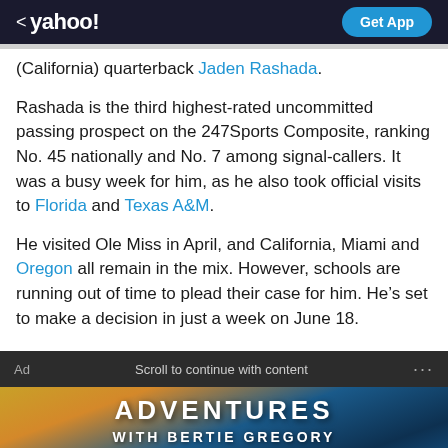< yahoo! Get App
(California) quarterback Jaden Rashada.
Rashada is the third highest-rated uncommitted passing prospect on the 247Sports Composite, ranking No. 45 nationally and No. 7 among signal-callers. It was a busy week for him, as he also took official visits to Florida and Texas A&M.
He visited Ole Miss in April, and California, Miami and Oregon all remain in the mix. However, schools are running out of time to plead their case for him. He’s set to make a decision in just a week on June 18.
[Figure (photo): Advertisement banner for 'Adventures with Bertie Gregory' showing a person outdoors and an underwater diver]
Ad · Scroll to continue with content